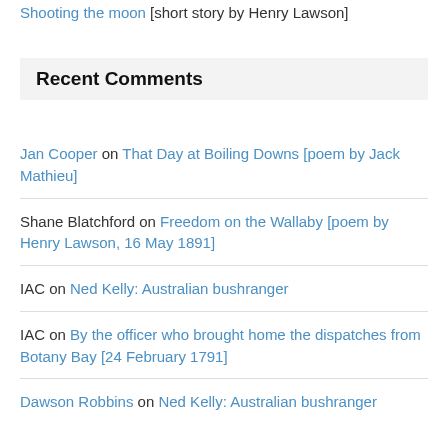Shooting the moon [short story by Henry Lawson]
Recent Comments
Jan Cooper on That Day at Boiling Downs [poem by Jack Mathieu]
Shane Blatchford on Freedom on the Wallaby [poem by Henry Lawson, 16 May 1891]
IAC on Ned Kelly: Australian bushranger
IAC on By the officer who brought home the dispatches from Botany Bay [24 February 1791]
Dawson Robbins on Ned Kelly: Australian bushranger